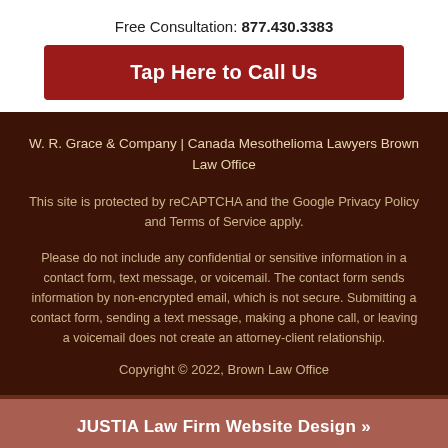Free Consultation: 877.430.3383
Tap Here to Call Us
W. R. Grace & Company | Canada Mesothelioma Lawyers Brown Law Office
This site is protected by reCAPTCHA and the Google Privacy Policy and Terms of Service apply.
Please do not include any confidential or sensitive information in a contact form, text message, or voicemail. The contact form sends information by non-encrypted email, which is not secure. Submitting a contact form, sending a text message, making a phone call, or leaving a voicemail does not create an attorney-client relationship.
Copyright © 2022, Brown Law Office
JUSTIA Law Firm Website Design »